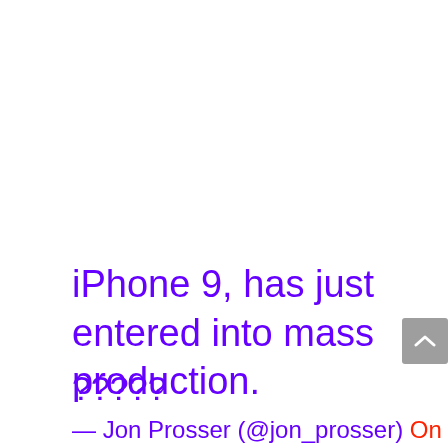iPhone 9, has just entered into mass production.
?????
— Jon Prosser (@jon_prosser) On